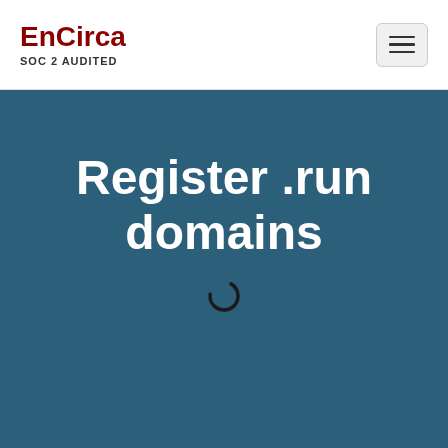EnCirca SOC 2 AUDITED
Register .run domains
[Figure (other): Loading spinner icon (partial circle arc) in dark color on teal/dark blue background]